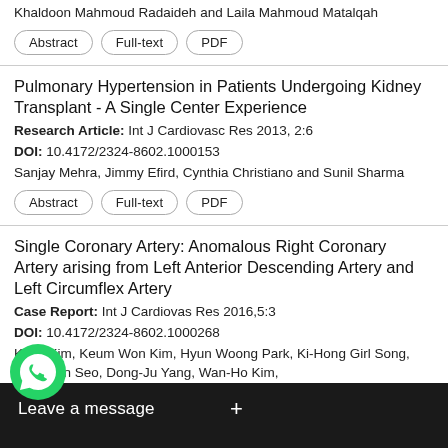Khaldoon Mahmoud Radaideh and Laila Mahmoud Matalqah
Abstract | Full-text | PDF
Pulmonary Hypertension in Patients Undergoing Kidney Transplant - A Single Center Experience
Research Article: Int J Cardiovasc Res 2013, 2:6
DOI: 10.4172/2324-8602.1000153
Sanjay Mehra, Jimmy Efird, Cynthia Christiano and Sunil Sharma
Abstract | Full-text | PDF
Single Coronary Artery: Anomalous Right Coronary Artery arising from Left Anterior Descending Artery and Left Circumflex Artery
Case Report: Int J Cardiovas Res 2016,5:3
DOI: 10.4172/2324-8602.1000268
Kyun Kim, Keum Won Kim, Hyun Woong Park, Ki-Hong Girl Song, Ryuk-Jun Seo, Dong-Ju Yang, Wan-Ho Kim,
Abstract